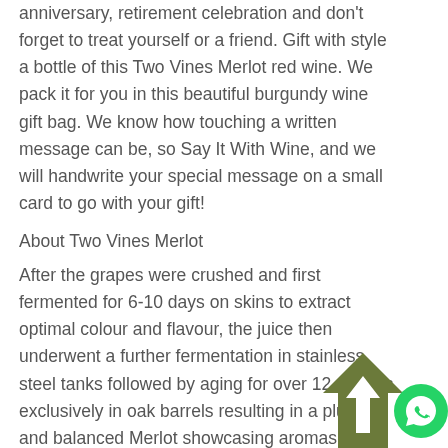anniversary, retirement celebration and don't forget to treat yourself or a friend. Gift with style a bottle of this Two Vines Merlot red wine. We pack it for you in this beautiful burgundy wine gift bag. We know how touching a written message can be, so Say It With Wine, and we will handwrite your special message on a small card to go with your gift!
About Two Vines Merlot
After the grapes were crushed and first fermented for 6-10 days on skins to extract optimal colour and flavour, the juice then underwent a further fermentation in stainless steel tanks followed by aging for over 12 months exclusively in oak barrels resulting in a plush and balanced Merlot showcasing aromas of cola, cream soda and cara...
[Figure (illustration): Dark olive/green house-shaped back-to-top arrow icon at bottom right]
[Figure (illustration): WhatsApp green circle icon at bottom right corner]